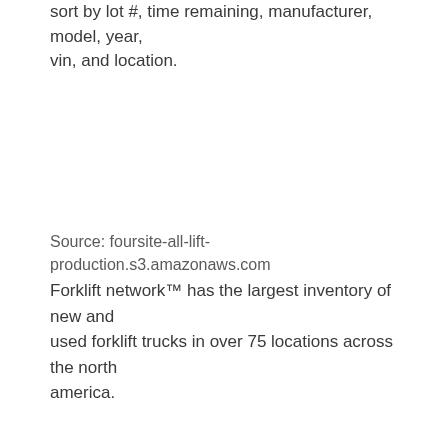sort by lot #, time remaining, manufacturer, model, year, vin, and location.
Source: foursite-all-lift-production.s3.amazonaws.com
Forklift network™ has the largest inventory of new and used forklift trucks in over 75 locations across the north america.